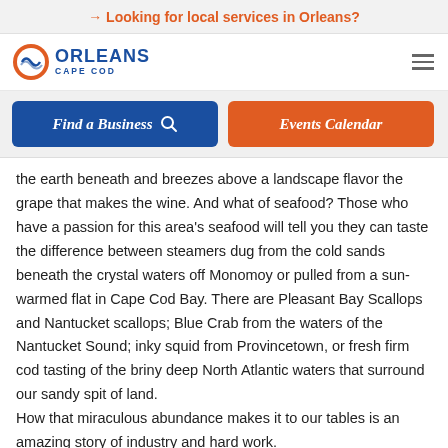→ Looking for local services in Orleans?
[Figure (logo): Orleans Cape Cod logo with circular wave icon in orange and blue, text ORLEANS CAPE COD in blue]
Find a Business 🔍
Events Calendar
the earth beneath and breezes above a landscape flavor the grape that makes the wine. And what of seafood? Those who have a passion for this area's seafood will tell you they can taste the difference between steamers dug from the cold sands beneath the crystal waters off Monomoy or pulled from a sun-warmed flat in Cape Cod Bay. There are Pleasant Bay Scallops and Nantucket scallops; Blue Crab from the waters of the Nantucket Sound; inky squid from Provincetown, or fresh firm cod tasting of the briny deep North Atlantic waters that surround our sandy spit of land.
How that miraculous abundance makes it to our tables is an amazing story of industry and hard work.